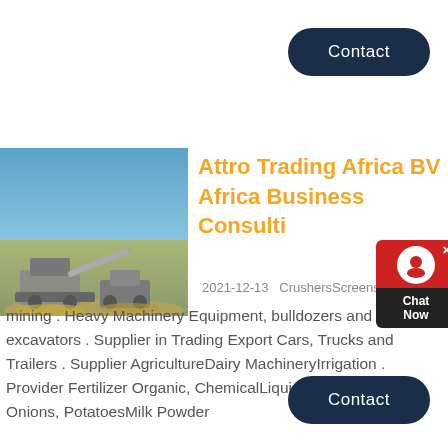[Figure (other): Contact button (dark navy rounded rectangle) at top right]
[Figure (photo): Photo of industrial crusher/mining machinery with blue sky and rocky ground]
Attro Trading Africa BV Africa Business Consulti
2021-12-13   CrushersScreens for mining . Heavy Machinery Equipment, bulldozers and excavators . Supplier in Trading Export Cars, Trucks and Trailers . Supplier AgricultureDairy MachineryIrrigation . Provider Fertilizer Organic, ChemicalLiquid . Carterer, Food: Onions, PotatoesMilk Powder
[Figure (other): Chat Now widget overlay (red box with headset icon and dark Chat Now label)]
[Figure (other): Contact button (dark navy rounded rectangle) at bottom right]